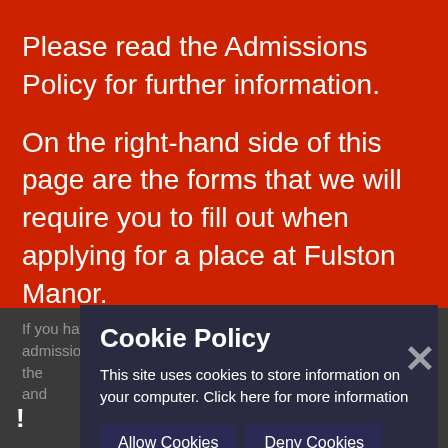Please read the Admissions Policy for further information.
On the right-hand side of this page are the forms that we will require you to fill out when applying for a place at Fulston Manor.
If you have any queries, please contact our admissions team on 01795 pie and any more text
Cookie Policy
This site uses cookies to store information on your computer. Click here for more information
Allow Cookies
Deny Cookies